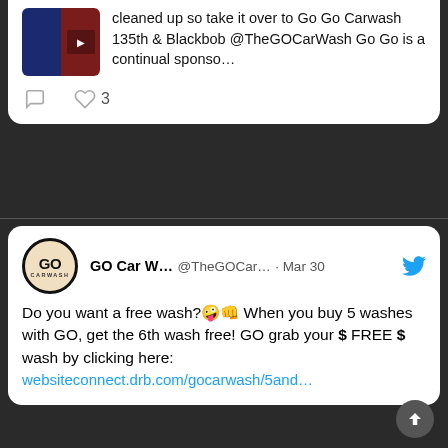[Figure (screenshot): Partial Twitter/social media post showing an image thumbnail and text about Go Go Carwash 135th & Blackbob @TheGOCarWash with 3 likes]
[Figure (screenshot): Twitter post by GO Car Wash @TheGOCar... on Mar 30: Do you want a free wash? When you buy 5 washes with GO, get the 6th wash free! GO grab your $ FREE $ wash by clicking here: websiteconnect.drb.com/gocarwash/5and...]
TAGS
ACTIVE FOAM
ADVANTAGES
APPLICATION METHOD
BENEFITS
BITUMEN STAINS
BLACKENING TIRES
BLACK WHEELS
BUSINESS PLAN
CAR SHAMPOO
CAR WASH
CAR WASHING
CAR WAXING
CLEANING WITH STEAM
CONCENTRATION
CONTACTLESS WASH
CRITERIA
DETAILING
DILUTING
DIY TIPS
EFFECT